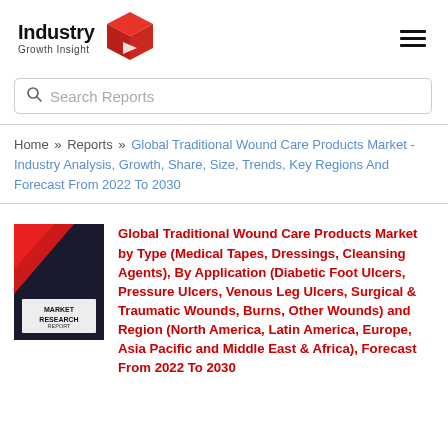[Figure (logo): Industry Growth Insight logo with stylized red 3D box icon and text 'Industry Growth Insight']
Search Reports
Home » Reports » Global Traditional Wound Care Products Market - Industry Analysis, Growth, Share, Size, Trends, Key Regions And Forecast From 2022 To 2030
[Figure (photo): Market Research Report book cover with red and dark design and text 'MARKET RESEARCH REPORT']
Global Traditional Wound Care Products Market by Type (Medical Tapes, Dressings, Cleansing Agents), By Application (Diabetic Foot Ulcers, Pressure Ulcers, Venous Leg Ulcers, Surgical & Traumatic Wounds, Burns, Other Wounds) and Region (North America, Latin America, Europe, Asia Pacific and Middle East & Africa), Forecast From 2022 To 2030